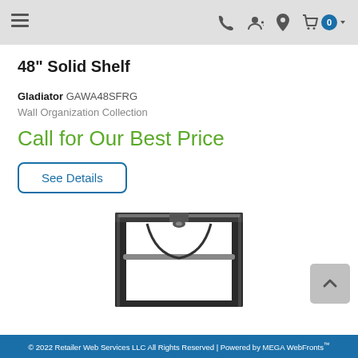Navigation bar with menu, phone, account, location, and cart (0) icons
48" Solid Shelf
Gladiator GAWA48SFRG
Wall Organization Collection
Call for Our Best Price
See Details
[Figure (photo): Product photo of a 48-inch solid shelf unit with a metal frame, showing a shelf structure with a bar and curved support cables, displayed on a white background.]
© 2022 Retailer Web Services LLC All Rights Reserved | Powered by MEGA WebFronts™